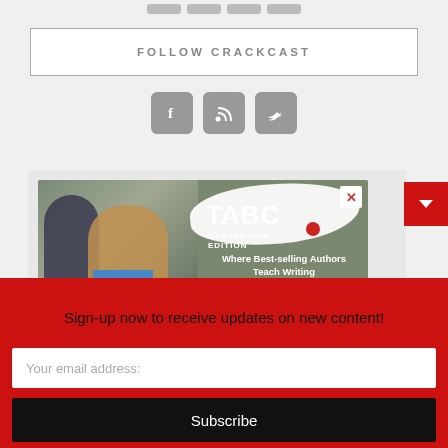[Figure (screenshot): Top navigation bar with gray pill-shaped buttons]
FOLLOW CRACKCAST
[Figure (infographic): Three social media icon buttons: Facebook (f), RSS feed, and Twitter (bird icon), displayed as gray rounded squares]
[Figure (screenshot): Advertisement for TABC Classroom Edition - Where Best-selling Authors Teach Writing. Shows two girls and a splash logo. Includes close button (X).]
Sign-up now to receive updates on new content!
Your email address:
Subscribe